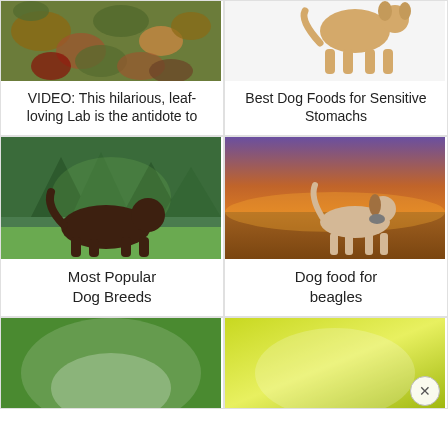[Figure (photo): Dog playing in autumn leaves, view from above]
VIDEO: This hilarious, leaf-loving Lab is the antidote to
[Figure (illustration): Illustration of a dog silhouette in tan/beige color]
Best Dog Foods for Sensitive Stomachs
[Figure (photo): Dark brown/chocolate Labrador standing on grass with green forest background]
Most Popular Dog Breeds
[Figure (photo): Beagle dog standing in a field at sunset with orange sky]
Dog food for beagles
[Figure (photo): Partially visible image at bottom left, blurred foreground]
[Figure (photo): Partially visible image at bottom right, blurred yellow-green tones]